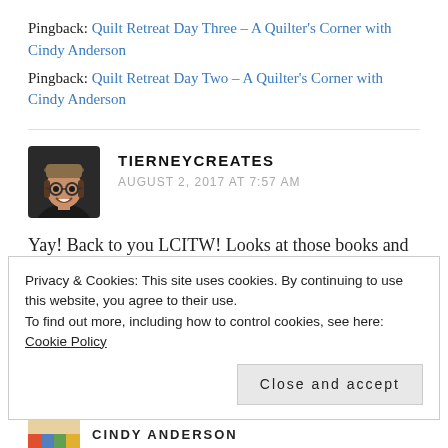Pingback: Quilt Retreat Day Three – A Quilter's Corner with Cindy Anderson
Pingback: Quilt Retreat Day Two – A Quilter's Corner with Cindy Anderson
TIERNEYCREATES
AUGUST 2, 2017 AT 7:57 AM
Yay! Back to you LCITW! Looks at those books and those fabrics – you are going to have a relaxing and
Privacy & Cookies: This site uses cookies. By continuing to use this website, you agree to their use.
To find out more, including how to control cookies, see here: Cookie Policy
Close and accept
CINDY ANDERSON